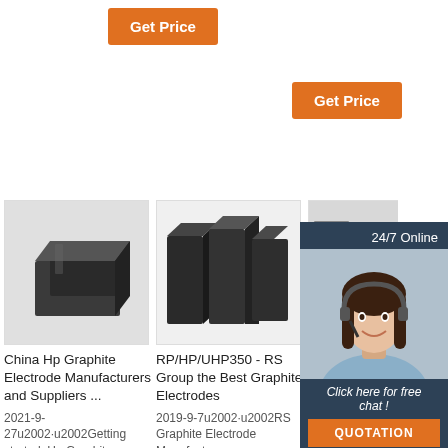[Figure (screenshot): Orange 'Get Price' button top left]
[Figure (screenshot): Orange 'Get Price' button top right]
[Figure (photo): Graphite electrode blocks, dark rectangular, stacked]
China Hp Graphite Electrode Manufacturers and Suppliers ...
2021-9-27u2002·u2002Getting started; Hp Graphite
[Figure (photo): Three graphite blocks standing upright]
RP/HP/UHP350 - RS Group the Best Graphite Electrodes
2019-9-7u2002·u2002RS Graphite Electrode Manufacturers
China Graphite Electrode suppliers, Graphite Electrode ..
RP HP Graphite Electrode for Steel. US$ 3500 - 6000 Ton (US) 1
[Figure (infographic): 24/7 Online chat overlay box with agent photo and QUOTATION button]
[Figure (logo): TOP badge with orange dots]